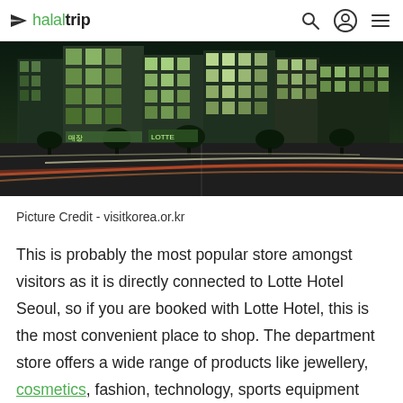halaltrip
[Figure (photo): Night street scene of a busy urban intersection in Seoul, South Korea, with illuminated buildings, motion-blurred car light trails, and trees lining the road.]
Picture Credit - visitkorea.or.kr
This is probably the most popular store amongst visitors as it is directly connected to Lotte Hotel Seoul, so if you are booked with Lotte Hotel, this is the most convenient place to shop. The department store offers a wide range of products like jewellery, cosmetics, fashion, technology, sports equipment and more. It is